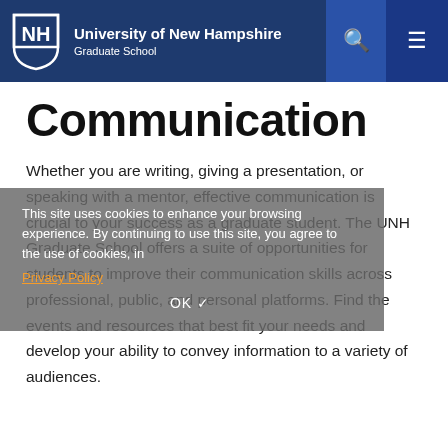University of New Hampshire Graduate School
Communication
Whether you are writing, giving a presentation, or speaking with a mentor, effective communication is crucial to your success as a graduate student. The UNH Graduate School offers a suite of opportunities for students to improve their communication skills across professional, public, and personal platforms. Find the events and resources that best fit your needs and develop your ability to convey information to a variety of audiences.
This site uses cookies to enhance your browsing experience. By continuing to use this site, you agree to the use of cookies, in Privacy Policy OK ✓